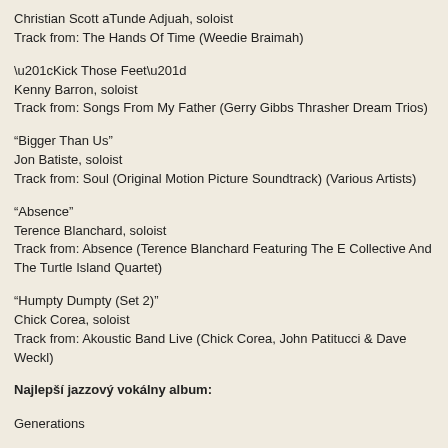Christian Scott aTunde Adjuah, soloist
Track from: The Hands Of Time (Weedie Braimah)
“Kick Those Feet”
Kenny Barron, soloist
Track from: Songs From My Father (Gerry Gibbs Thrasher Dream Trios)
“Bigger Than Us”
Jon Batiste, soloist
Track from: Soul (Original Motion Picture Soundtrack) (Various Artists)
“Absence”
Terence Blanchard, soloist
Track from: Absence (Terence Blanchard Featuring The E Collective And The Turtle Island Quartet)
“Humpty Dumpty (Set 2)”
Chick Corea, soloist
Track from: Akoustic Band Live (Chick Corea, John Patitucci & Dave Weckl)
Najlepší jazzový vokálny album:
Generations